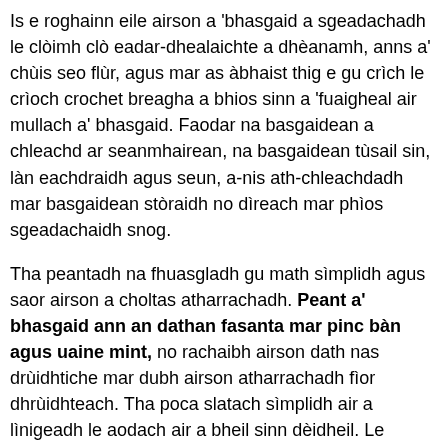Is e roghainn eile airson a 'bhasgaid a sgeadachadh le clòimh clò eadar-dhealaichte a dhèanamh, anns a' chùis seo flùr, agus mar as àbhaist thig e gu crìch le crìoch crochet breagha a bhios sinn a 'fuaigheal air mullach a' bhasgaid. Faodar na basgaidean a chleachd ar seanmhairean, na basgaidean tùsail sin, làn eachdraidh agus seun, a-nis ath-chleachdadh mar basgaidean stòraidh no dìreach mar phìos sgeadachaidh snog.
Tha peantadh na fhuasgladh gu math sìmplidh agus saor airson a choltas atharrachadh. Peant a' bhasgaid ann an dathan fasanta mar pinc bàn agus uaine mint, no rachaibh airson dath nas drùidhtiche mar dubh airson atharrachadh fìor dhrùidhteach. Tha poca slatach sìmplidh air a lìnigeadh le aodach air a bheil sinn dèidheil. Le cuideachadh bho ròp cèir agus cuid de